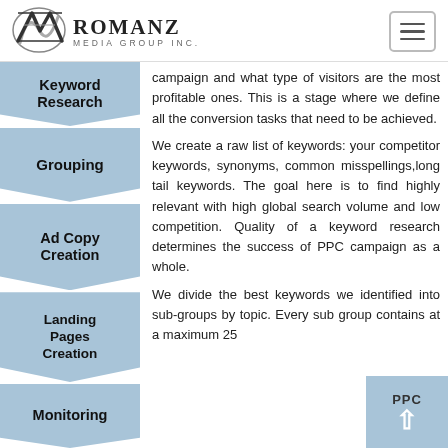[Figure (logo): RomanZ Media Group Inc. logo with stylized Z graphic]
campaign and what type of visitors are the most profitable ones. This is a stage where we define all the conversion tasks that need to be achieved.
We create a raw list of keywords: your competitor keywords, synonyms, common misspellings,long tail keywords. The goal here is to find highly relevant with high global search volume and low competition. Quality of a keyword research determines the success of PPC campaign as a whole.
We divide the best keywords we identified into sub-groups by topic. Every sub group contains at a maximum 25